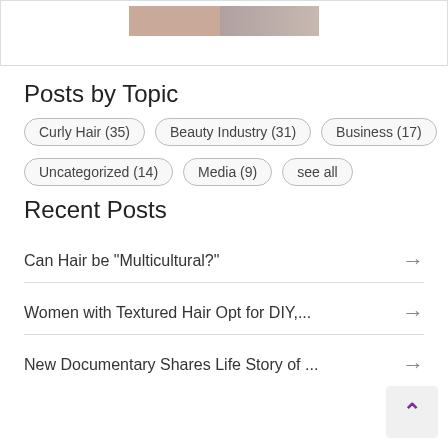[Figure (photo): Partial top image of hair products or similar, cropped at top of page]
Posts by Topic
Curly Hair (35)
Beauty Industry (31)
Business (17)
Uncategorized (14)
Media (9)
see all
Recent Posts
Can Hair be "Multicultural?"
Women with Textured Hair Opt for DIY,...
New Documentary Shares Life Story of ...